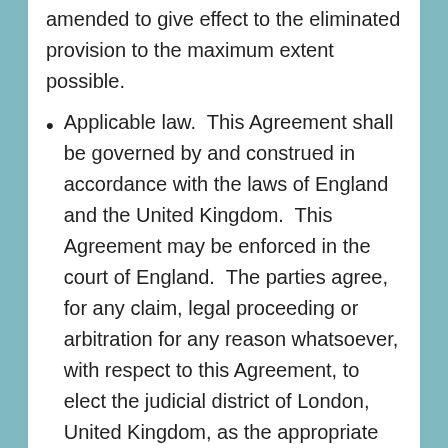amended to give effect to the eliminated provision to the maximum extent possible.
Applicable law.  This Agreement shall be governed by and construed in accordance with the laws of England and the United Kingdom.  This Agreement may be enforced in the court of England.  The parties agree, for any claim, legal proceeding or arbitration for any reason whatsoever, with respect to this Agreement, to elect the judicial district of London, United Kingdom, as the appropriate place for the hearing of said claims or legal proceedings, to the exclusion of any other legal district that may have jurisdiction over such litigation as prescribed by law.
Dispute resolution.  Any action to enforce this agreement must be brought to the United Kingdom.  This choice of jurisdiction does not